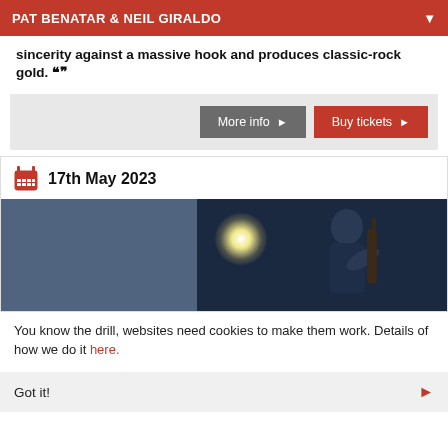PAT BENATAR & NEIL GIRALDO
sincerity against a massive hook and produces classic-rock gold. ””
More info ►    Buy tickets ►
17th May 2023
[Figure (photo): Concert photo of a musician playing guitar on stage with bright spotlight, dark background]
You know the drill, websites need cookies to make them work. Details of how we do it here.
Got it!